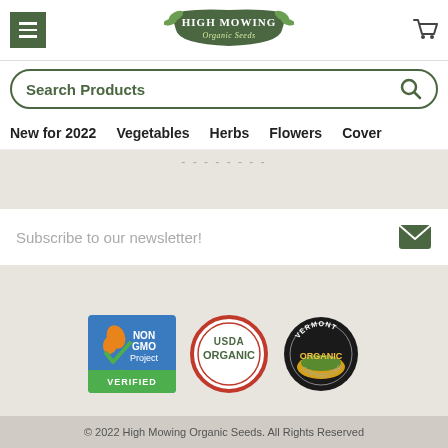[Figure (logo): High Mowing Organic Seeds logo with green banner and decorative leaves]
Search Products
New for 2022   Vegetables   Herbs   Flowers   Cover
Subscribe to our newsletter!
[Figure (logo): Three certification badges: Non GMO Project Verified, USDA Organic, Vermont Certified Organic]
© 2022 High Mowing Organic Seeds. All Rights Reserved